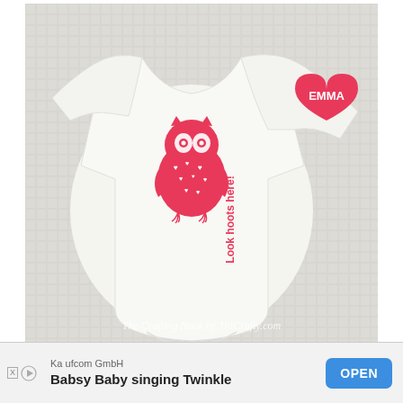[Figure (photo): A white baby onesie laid on a textured white/gray background. The onesie has a pink owl illustration with hearts and the text 'Look hoots here!' printed vertically. The sleeve shows a pink heart with the name 'EMMA' in white text. A watermark reads 'The Crafting Nook by TitiCrafty.com'.]
[Figure (infographic): Advertisement banner for 'Kaufcom GmbH' - 'Babsy Baby singing Twinkle' app with an OPEN button in blue.]